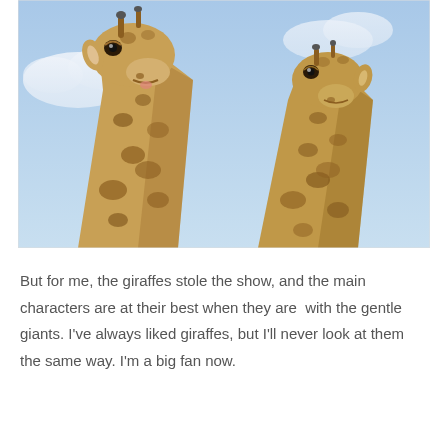[Figure (photo): Close-up photo of two giraffes facing the camera against a blue cloudy sky. The left giraffe is larger and closer, with its mouth slightly open. The right giraffe is slightly behind and to the right.]
But for me, the giraffes stole the show, and the main characters are at their best when they are  with the gentle giants. I've always liked giraffes, but I'll never look at them the same way. I'm a big fan now.